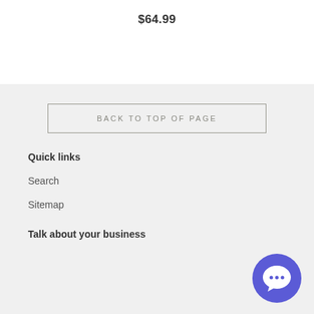$64.99
BACK TO TOP OF PAGE
Quick links
Search
Sitemap
Talk about your business
[Figure (illustration): Blue circular chat/messaging button with a speech bubble icon in white, positioned in the bottom-right corner]